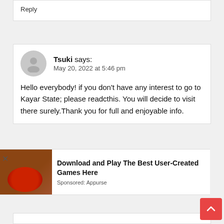Reply
Tsuki says:
May 20, 2022 at 5:46 pm
Hello everybody! if you don't have any interest to go to Kayar State; please readcthis. You will decide to visit there surely.Thank you for full and enjoyable info.
[Figure (infographic): Advertisement banner: Download and Play The Best User-Created Games Here. Sponsored: Appurse. Showing a game scene image on the left with pizza-like red circles.]